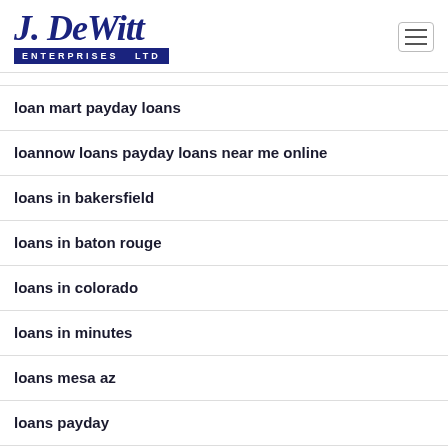J. DeWitt Enterprises Ltd
loan mart payday loans
loannow loans payday loans near me online
loans in bakersfield
loans in baton rouge
loans in colorado
loans in minutes
loans mesa az
loans payday